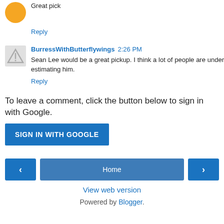Great pick
Reply
BurressWithButterflywings  2:26 PM
Sean Lee would be a great pickup. I think a lot of people are under estimating him.
Reply
To leave a comment, click the button below to sign in with Google.
SIGN IN WITH GOOGLE
Home
View web version
Powered by Blogger.